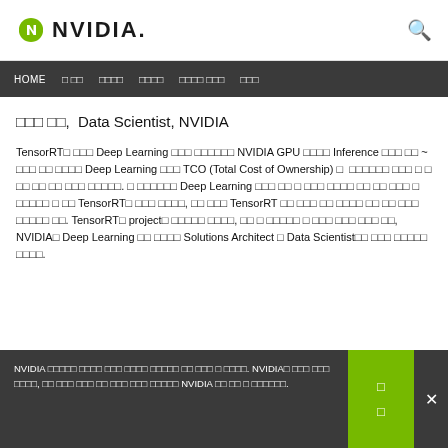[Figure (logo): NVIDIA logo with green shield icon and bold NVIDIA text]
HOME  □ □□  □□□□  □□□□  □□□□ □□□  □□□
□□□ □□,  Data Scientist, NVIDIA
TensorRT□ □□□ Deep Learning □□□ □□□□□□ NVIDIA GPU □□□□ Inference □□□ □□ ~ □□□ □□ □□□□ Deep Learning □□□ TCO (Total Cost of Ownership) □  □□□□□□ □□□ □ □ □□ □□ □□ □□□ □□□□□. □ □□□□□□ Deep Learning □□□ □□ □ □□□ □□□□ □□ □□ □□□ □ □□□□□ □ □□ TensorRT□ □□□ □□□□, □□ □□□ TensorRT □□ □□□ □□ □□□□ □□ □□ □□□ □□□□□ □□. TensorRT□ project□ □□□□□ □□□□, □□ □ □□□□□ □ □□□ □□□ □□□ □□, NVIDIA□ Deep Learning □□ □□□□ Solutions Architect □ Data Scientist□□ □□□ □□□□□ □□□□.
NVIDIA □□□□□ □□□□ □□□ □□□□ □□□□□ □□ □□□ □ □□□□. NVIDIA□ □□□ □□□ □□□□, □□ □□□ □□□ □□ □□□ □□□ □□□□□ NVIDIA □□ □□ □ □□□□□□.